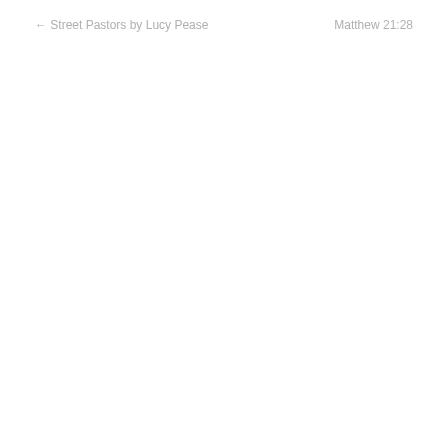← Street Pastors by Lucy Pease
Matthew 21:28